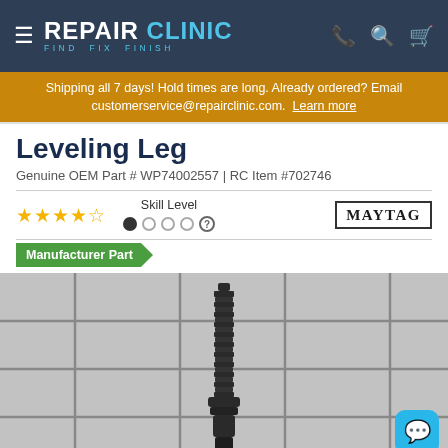REPAIR CLINIC — FIND. FIX. FINISH.
Shipping all 7 days! Hold times are long. Already ordered? Email customerservice@repairclinic.com. Learn more
Leveling Leg
Genuine OEM Part # WP74002557 | RC Item #702746
[Figure (other): Star rating: 4.5 out of 5 stars; Skill Level indicator with 1 of 4 dots filled; Maytag brand logo; Manufacturer Part badge; Product photo of a leveling leg (black threaded screw/foot component) against a gray tiled grid background; Chat support button (blue rounded square with speech bubble icon)]